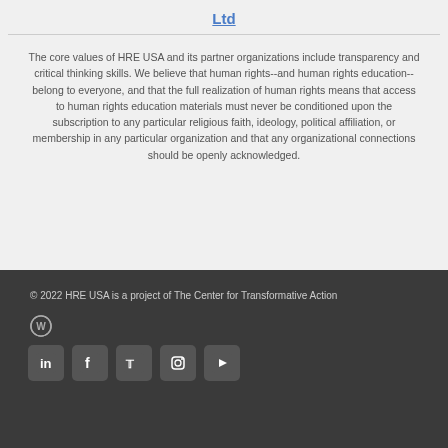Ltd
The core values of HRE USA and its partner organizations include transparency and critical thinking skills. We believe that human rights--and human rights education--belong to everyone, and that the full realization of human rights means that access to human rights education materials must never be conditioned upon the subscription to any particular religious faith, ideology, political affiliation, or membership in any particular organization and that any organizational connections should be openly acknowledged.
© 2022 HRE USA is a project of The Center for Transformative Action